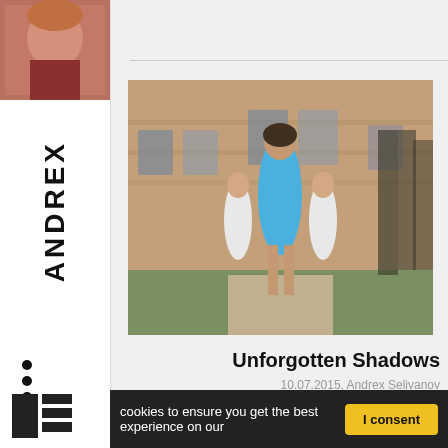[Figure (photo): Small child portrait photo at top of left sidebar]
ANDREX
[Figure (photo): Woman in blue dress walking with two children in white dresses in front of a brick building]
Unforgotten Shadows
10.07.2015, Andrex Selivanov
FEATURED
cookies to ensure you get the best experience on our
I consent